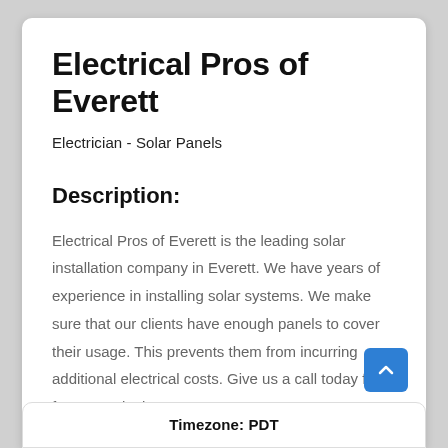Electrical Pros of Everett
Electrician - Solar Panels
Description:
Electrical Pros of Everett is the leading solar installation company in Everett. We have years of experience in installing solar systems. We make sure that our clients have enough panels to cover their usage. This prevents them from incurring additional electrical costs. Give us a call today for a free consultation!
Timezone: PDT